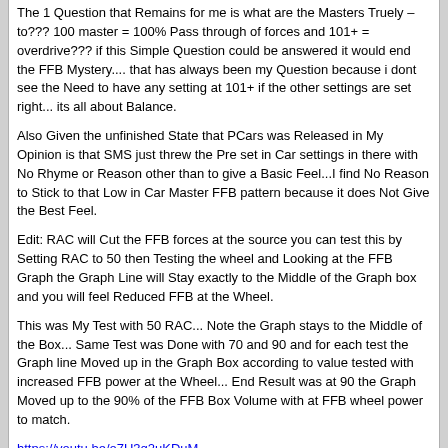The 1 Question that Remains for me is what are the Masters Truely – to??? 100 master = 100% Pass through of forces and 101+ = overdrive??? if this Simple Question could be answered it would end the FFB Mystery.... that has always been my Question because i dont see the Need to have any setting at 101+ if the other settings are set right... its all about Balance.

Also Given the unfinished State that PCars was Released in My Opinion is that SMS just threw the Pre set in Car settings in there with No Rhyme or Reason other than to give a Basic Feel...I find No Reason to Stick to that Low in Car Master FFB pattern because it does Not Give the Best Feel.

Edit: RAC will Cut the FFB forces at the source you can test this by Setting RAC to 50 then Testing the wheel and Looking at the FFB Graph the Graph Line will Stay exactly to the Middle of the Graph box and you will feel Reduced FFB at the Wheel.

This was My Test with 50 RAC... Note the Graph stays to the Middle of the Box... Same Test was Done with 70 and 90 and for each test the Graph line Moved up in the Graph Box according to value tested with increased FFB power at the Wheel... End Result was at 90 the Graph Moved up to the 90% of the FFB Box Volume with at FFB wheel power to match.

https://youtu.be/o7U3q2uKDuM
GrimeyDog | 03-01-2016, 18:20
I'm slowly starting to regret the reset I did! Right now i'm getting so much game crashes (blue screen). It was really rare for me such crashes, maybe until like patch 3.0, but after that the game was very stable for me. Now I'm not sure I can run 20 laps without this crashing on me...

But don't worry mate, not accusing you in any way!!! :D

I would Try the Reset again and Make sure you delete all Data...Restart console ,Do a Fresh instal then Restart Consol again.. only thing that i can figure is some how your Not getting a Clean instal...This has been whats been working for Me... Its the only way that i can Guareentee that All Tracks and